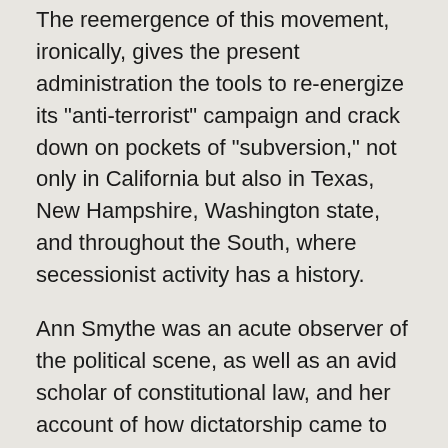The reemergence of this movement, ironically, gives the present administration the tools to re-energize its "anti-terrorist" campaign and crack down on pockets of "subversion," not only in California but also in Texas, New Hampshire, Washington state, and throughout the South, where secessionist activity has a history.
Ann Smythe was an acute observer of the political scene, as well as an avid scholar of constitutional law, and her account of how dictatorship came to America is worth quoting, because it shows when and why the seeds were planted that eventually sprouted into a tyranny whose tendrils have invaded the life of every American:
"So why did we allow it? How did we let them get away with it? We had a Constitution, once, and yet it blew away like ...